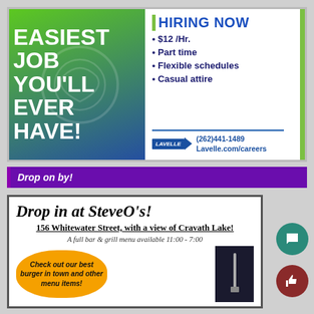[Figure (infographic): Job advertisement for Lavelle. Left side green-to-blue gradient with text 'EASIEST JOB YOU'LL EVER HAVE!' in white bold. Right side white panel: 'HIRING NOW' header in blue, bullet points listing $12/Hr., Part time, Flexible schedules, Casual attire, then Lavelle logo with phone (262)441-1489 and website Lavelle.com/careers.]
Drop on by!
[Figure (infographic): SteveO's bar and grill advertisement. Title 'Drop in at SteveO's!' with address '156 Whitewater Street, with a view of Cravath Lake!' and hours 'A full bar & grill menu available 11:00 - 7:00'. Orange cloud callout says 'Check out our best burger in town and other menu items!']